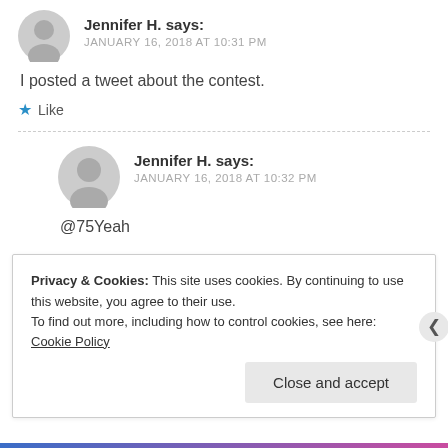Jennifer H. says: JANUARY 16, 2018 AT 10:31 PM
I posted a tweet about the contest.
★ Like
Jennifer H. says: JANUARY 16, 2018 AT 10:32 PM
@75Yeah
Privacy & Cookies: This site uses cookies. By continuing to use this website, you agree to their use.
To find out more, including how to control cookies, see here: Cookie Policy
Close and accept